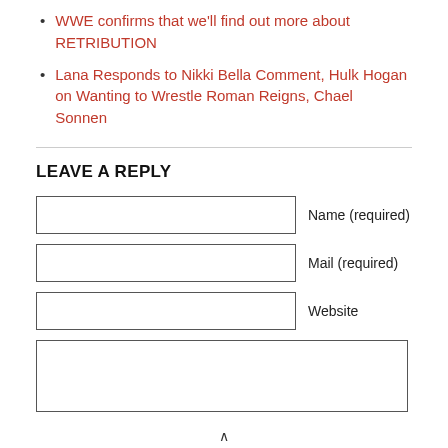WWE confirms that we'll find out more about RETRIBUTION
Lana Responds to Nikki Bella Comment, Hulk Hogan on Wanting to Wrestle Roman Reigns, Chael Sonnen
LEAVE A REPLY
Name (required)
Mail (required)
Website